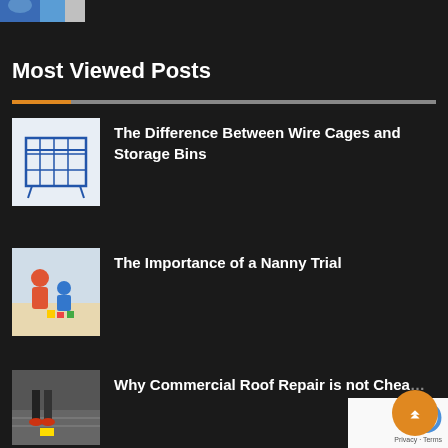[Figure (photo): Partial image of person in blue shirt at top left]
Most Viewed Posts
The Difference Between Wire Cages and Storage Bins
The Importance of a Nanny Trial
Why Commercial Roof Repair is not Cheap